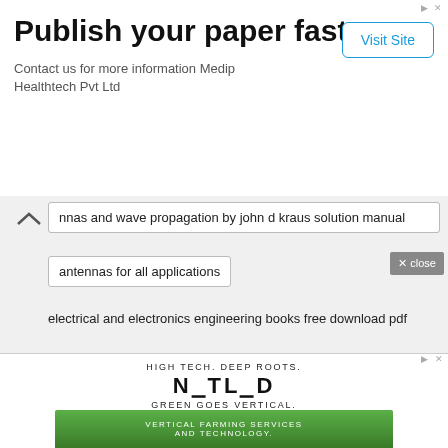Publish your paper fast
Contact us for more information Medip Healthtech Pvt Ltd
Visit Site
nnas and wave propagation by john d kraus solution manual
antennas for all applications
electrical and electronics engineering books free download pdf
× close
[Figure (logo): NETLED advertisement with taglines HIGH TECH. DEEP ROOTS. and GREEN GOES VERTICAL. and vera vertical farming services and technology with green plant background photo]